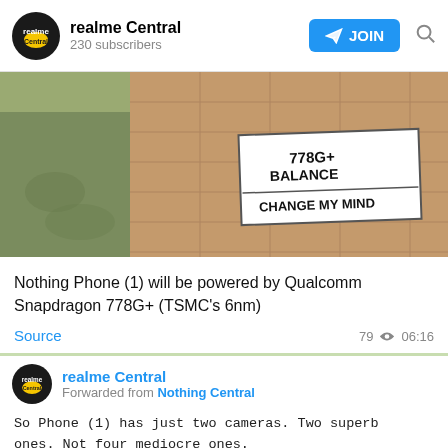realme Central — 230 subscribers
[Figure (photo): Outdoor photo showing a 'CHANGE MY MIND' meme-style sign on a brick paved surface with text '778G+ BALANCE' visible, taken from above. Sign reads 'CHANGE MY MIND'.]
Nothing Phone (1) will be powered by Qualcomm Snapdragon 778G+ (TSMC's 6nm)
Source   79  06:16
realme Central
Forwarded from Nothing Central
So Phone (1) has just two cameras. Two superb ones. Not four mediocre ones.

It starts with the sensor. And we chose the best. Our main camera uses the flagship 50 MP Sony IMX766. To give you exceptional images